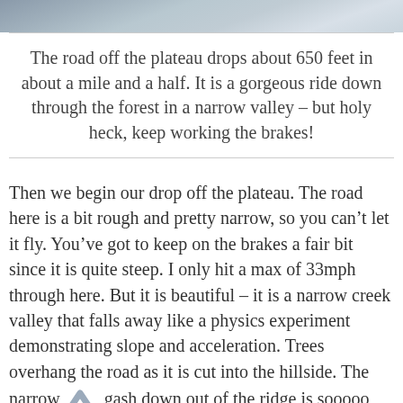[Figure (photo): Partial view of a road or outdoor scene, cropped at the top of the page]
The road off the plateau drops about 650 feet in about a mile and a half. It is a gorgeous ride down through the forest in a narrow valley – but holy heck, keep working the brakes!
Then we begin our drop off the plateau. The road here is a bit rough and pretty narrow, so you can't let it fly. You've got to keep on the brakes a fair bit since it is quite steep. I only hit a max of 33mph through here. But it is beautiful – it is a narrow creek valley that falls away like a physics experiment demonstrating slope and acceleration. Trees overhang the road as it is cut into the hillside. The narrow gash down out of the ridge is sooooo fun – though the section with 16 percent grades would be tough going the other way!